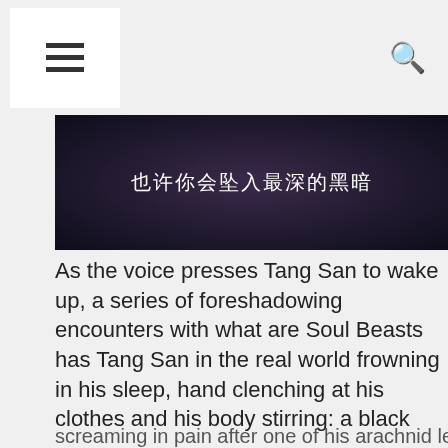[Figure (screenshot): Website screenshot showing a navigation bar with hamburger menu icon and search icon, a dark hero image with Chinese text '也许你会坠入最深的黑暗', article body text in English, and a cookie consent banner with 'Got it!' button overlaying part of the content.]
也许你会坠入最深的黑暗
As the voice presses Tang San to wake up, a series of foreshadowing encounters with what are Soul Beasts has Tang San in the real world frowning in his sleep, hand clenching at his clothes and his body stirring: a black
This website uses cookies to ensure you get the best experience on our website.
Learn more
Got it!
screaming in pain after one of his arachnid legs coming out